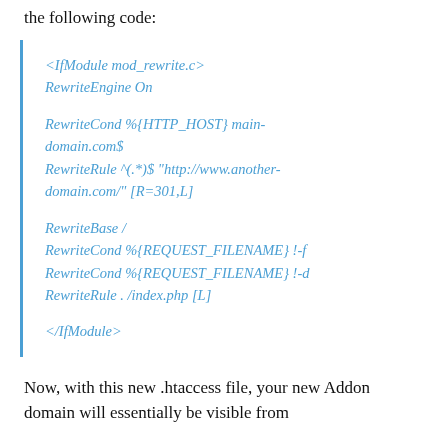the following code:
<IfModule mod_rewrite.c>
RewriteEngine On

RewriteCond %{HTTP_HOST} main-domain.com$
RewriteRule ^(.*)$ "http://www.another-domain.com/" [R=301,L]

RewriteBase /
RewriteCond %{REQUEST_FILENAME} !-f
RewriteCond %{REQUEST_FILENAME} !-d
RewriteRule . /index.php [L]

</IfModule>
Now, with this new .htaccess file, your new Addon domain will essentially be visible from